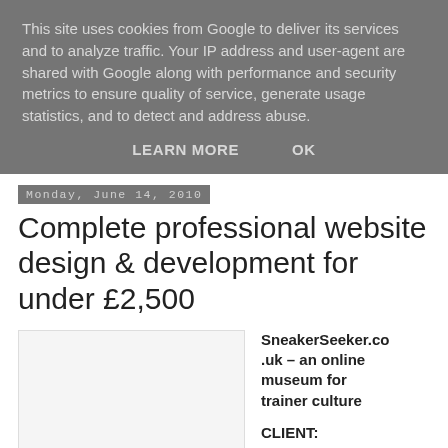This site uses cookies from Google to deliver its services and to analyze traffic. Your IP address and user-agent are shared with Google along with performance and security metrics to ensure quality of service, generate usage statistics, and to detect and address abuse.
LEARN MORE   OK
Monday, June 14, 2010
Complete professional website design & development for under £2,500
[Figure (other): White/light gray image placeholder box]
SneakerSeeker.co.uk – an online museum for trainer culture

CLIENT:
Slough Borough Council